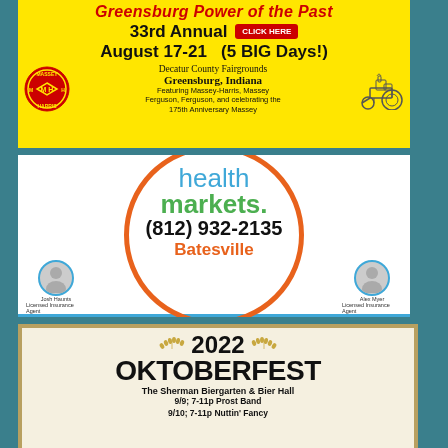[Figure (advertisement): Greensburg Power of the Past 33rd Annual advertisement. Yellow background. August 17-21 (5 BIG Days!) at Decatur County Fairgrounds, Greensburg, Indiana. Featuring Massey-Harris, Massey Ferguson, Ferguson, and celebrating the 175th Anniversary Massey. Massey Harris MH logo circle on left.]
[Figure (advertisement): Health Markets advertisement. White background with orange circle. health markets logo in blue and green text. Phone (812) 932-2135. Batesville. Health • Medicare • Life. Two agent photos: Josh Haunts and Alex Myer, Licensed Insurance Agents.]
[Figure (advertisement): 2022 Oktoberfest advertisement. The Sherman Biergarten & Bier Hall. 9/9; 7-11p Prost Band. 9/10; 7-11p Nuttin' Fancy.]